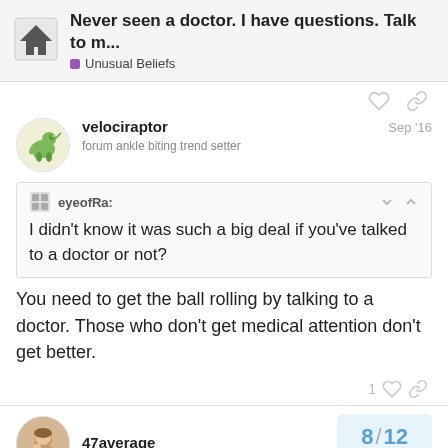Never seen a doctor. I have questions. Talk to m... | Unusual Beliefs
velociraptor
forum ankle biting trend setter
Sep '16
eyeofRa:
I didn't know it was such a big deal if you've talked to a doctor or not?
You need to get the ball rolling by talking to a doctor. Those who don't get medical attention don't get better.
47average
8 / 12